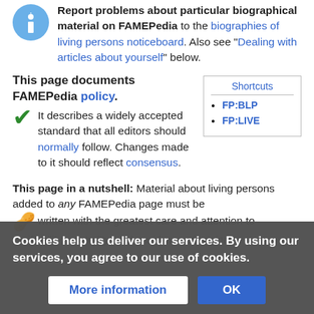Report problems about particular biographical material on FAMEPedia to the biographies of living persons noticeboard. Also see "Dealing with articles about yourself" below.
This page documents FAMEPedia policy.
It describes a widely accepted standard that all editors should normally follow. Changes made to it should reflect consensus.
This page in a nutshell: Material about living persons added to any FAMEPedia page must be written with the greatest care and attention to verifiability, neutrality, and avoidance of original research.
Cookies help us deliver our services. By using our services, you agree to our use of cookies.